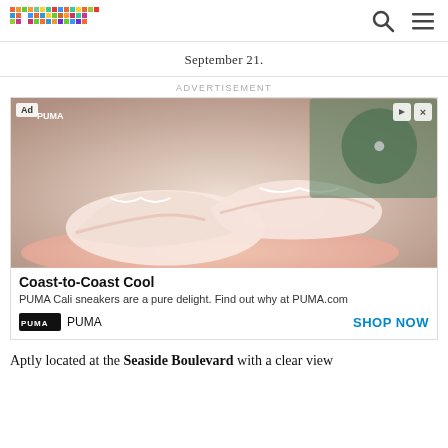primer
September 21.
ADVERTISEMENT
[Figure (photo): Advertisement for PUMA Cali sneakers. Shows pink/white platform sneakers on a pink tray with a record player in the background. Ad badge top-left, play and close buttons top-right.]
Coast-to-Coast Cool
PUMA Cali sneakers are a pure delight. Find out why at PUMA.com
PUMA   SHOP NOW
Aptly located at the Seaside Boulevard with a clear view